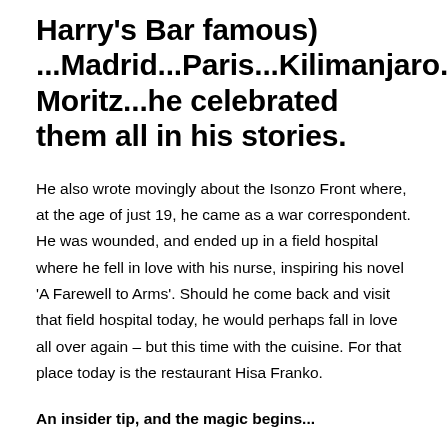Harry's Bar famous) ...Madrid...Paris...Kilimanjaro...Opatija...St Moritz...he celebrated them all in his stories.
He also wrote movingly about the Isonzo Front where, at the age of just 19, he came as a war correspondent. He was wounded, and ended up in a field hospital where he fell in love with his nurse, inspiring his novel 'A Farewell to Arms'. Should he come back and visit that field hospital today, he would perhaps fall in love all over again – but this time with the cuisine. For that place today is the restaurant Hisa Franko.
An insider tip, and the magic begins...